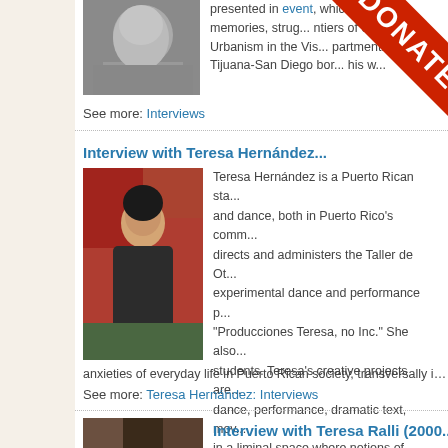[Figure (photo): Black and white portrait photo of a man, partially visible at top]
presented in [event], which b... memories, strug... ntiers of ci... Urbanism in the Vis... partment... Tijuana-San Diego bor... his w...
See more: Interviews
[Figure (other): DONATE ribbon/banner overlay in red with white text]
Interview with Teresa Hernández
[Figure (photo): Photo of Teresa Hernández, a woman with short dark hair wearing a dark sleeveless top, seated in front of a red wall]
Teresa Hernández is a Puerto Rican sta... and dance, both in Puerto Rico's comm... directs and administers the Taller de Ot... experimental dance and performance p... "Producciones Teresa, no Inc." She also... students. Teresa's creative projects are... dance, performance, dramatic text, mov... in a liminal space where notions of pred... anxieties of everyday life in Puerto Rican society, transversally investigating i...
See more: Teresa Hernández: Interviews
Interview with Teresa Ralli (2000...
[Figure (photo): Partially visible photo at bottom of page]